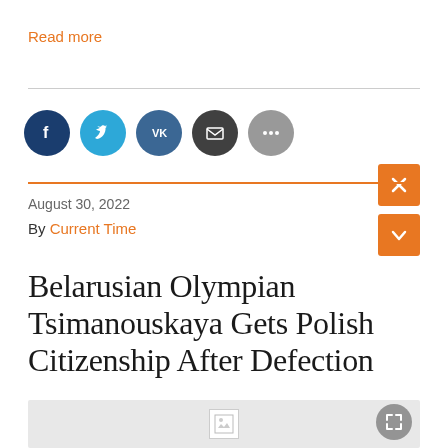Read more
[Figure (other): Social sharing icons: Facebook (dark blue), Twitter (light blue), VK (dark teal/blue), Email (dark grey), More (grey)]
August 30, 2022
By Current Time
Belarusian Olympian Tsimanouskaya Gets Polish Citizenship After Defection
[Figure (photo): Image placeholder (broken image) with expand button, light grey background]